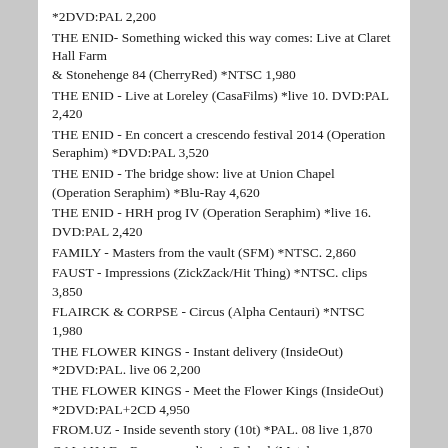*2DVD:PAL 2,200
THE ENID- Something wicked this way comes: Live at Claret Hall Farm & Stonehenge 84 (CherryRed) *NTSC 1,980
THE ENID - Live at Loreley (CasaFilms) *live 10. DVD:PAL 2,420
THE ENID - En concert a crescendo festival 2014 (Operation Seraphim) *DVD:PAL 3,520
THE ENID - The bridge show: live at Union Chapel (Operation Seraphim) *Blu-Ray 4,620
THE ENID - HRH prog IV (Operation Seraphim) *live 16. DVD:PAL 2,420
FAMILY - Masters from the vault (SFM) *NTSC. 2,860
FAUST - Impressions (ZickZack/Hit Thing) *NTSC. clips 3,850
FLAIRCK & CORPSE - Circus (Alpha Centauri) *NTSC 1,980
THE FLOWER KINGS - Instant delivery (InsideOut) *2DVD:PAL. live 06 2,200
THE FLOWER KINGS - Meet the Flower Kings (InsideOut) *2DVD:PAL+2CD 4,950
FROM.UZ - Inside seventh story (10t) *PAL. 08 live 1,870
GALAHAD - Resonance: live in Poland (Metal